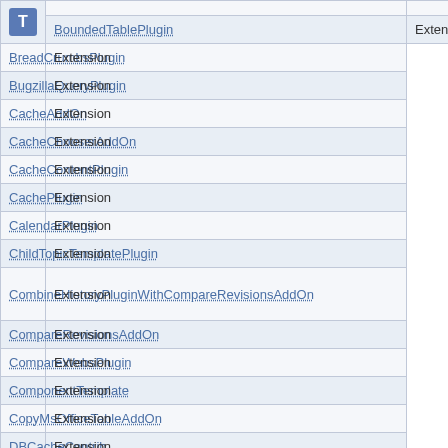| Name | Type |
| --- | --- |
| BoundedTablePlugin | Extension |
| BreadCrumbsPlugin | Extension |
| BugzillaQueryPlugin | Extension |
| CacheAddOn | Extension |
| CacheChooserAddOn | Extension |
| CacheContentPlugin | Extension |
| CachePlugin | Extension |
| CalendarPlugin | Extension |
| ChildTopicTemplatePlugin | Extension |
| CombineHistoryPluginWithCompareRevisionsAddOn | Extension |
| CompareRevisionsAddOn | Extension |
| CompareWebsPlugin | Extension |
| ComponentTemplate | Extension |
| CopyMsOfficeTableAddOn | Extension |
| DBCacheContrib | Extension |